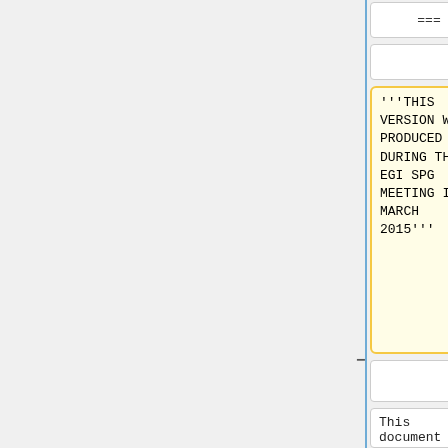| Old version | New version |
| --- | --- |
| === | === |
| (blank) | (blank) |
| '''THIS VERSION WAS PRODUCED DURING THE EGI SPG MEETING IN MARCH 2015''' | '''THIS VERSION WAS PRODUCED DURING THE EGI SPG MEETING IN MARCH 2015 and worked on at the Security Policy Workshop in Lisbon 19 May 2015''' |
| (blank) | (blank) |
| This document | This document |